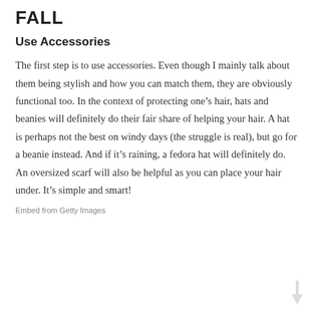FALL
Use Accessories
The first step is to use accessories. Even though I mainly talk about them being stylish and how you can match them, they are obviously functional too. In the context of protecting one’s hair, hats and beanies will definitely do their fair share of helping your hair. A hat is perhaps not the best on windy days (the struggle is real), but go for a beanie instead. And if it’s raining, a fedora hat will definitely do. An oversized scarf will also be helpful as you can place your hair under. It’s simple and smart!
Embed from Getty Images